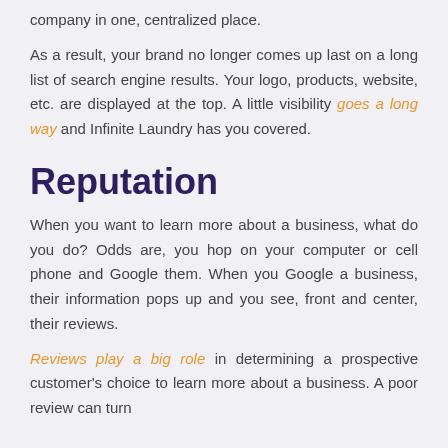company in one, centralized place.
As a result, your brand no longer comes up last on a long list of search engine results. Your logo, products, website, etc. are displayed at the top. A little visibility goes a long way and Infinite Laundry has you covered.
Reputation
When you want to learn more about a business, what do you do? Odds are, you hop on your computer or cell phone and Google them. When you Google a business, their information pops up and you see, front and center, their reviews.
Reviews play a big role in determining a prospective customer's choice to learn more about a business. A poor review can turn